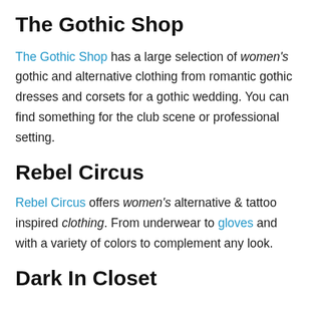The Gothic Shop
The Gothic Shop has a large selection of women's gothic and alternative clothing from romantic gothic dresses and corsets for a gothic wedding. You can find something for the club scene or professional setting.
Rebel Circus
Rebel Circus offers women's alternative & tattoo inspired clothing. From underwear to gloves and with a variety of colors to complement any look.
Dark In Closet